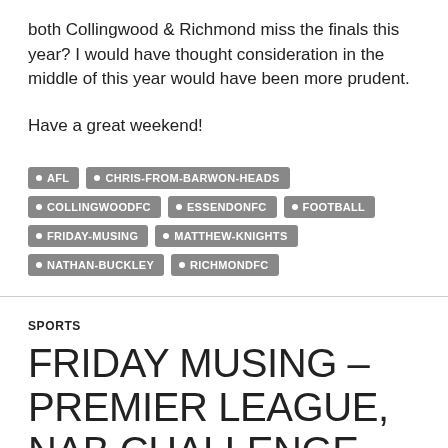both Collingwood & Richmond miss the finals this year? I would have thought consideration in the middle of this year would have been more prudent.
Have a great weekend!
AFL
CHRIS-FROM-BARWON-HEADS
COLLINGWOODFC
ESSENDONFC
FOOTBALL
FRIDAY-MUSING
MATTHEW-KNIGHTS
NATHAN-BUCKLEY
RICHMONDFC
SPORTS
FRIDAY MUSING – PREMIER LEAGUE, NAB CHALLENGE, NBL